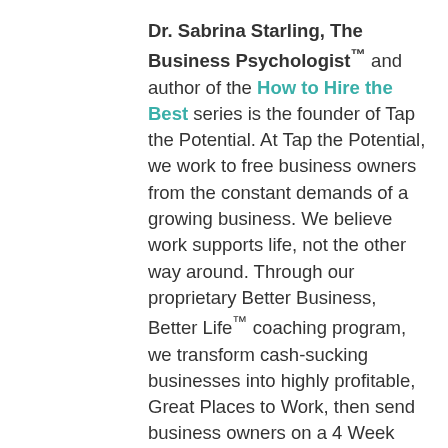Dr. Sabrina Starling, The Business Psychologist™ and author of the How to Hire the Best series is the founder of Tap the Potential. At Tap the Potential, we work to free business owners from the constant demands of a growing business. We believe work supports life, not the other way around. Through our proprietary Better Business, Better Life™ coaching program, we transform cash-sucking businesses into highly profitable, Great Places to Work, then send business owners on a 4 Week Vacation™ to celebrate that accomplishment. After the first year in our program, our clients have more time for what matters most and more money in their bank account than ever before.